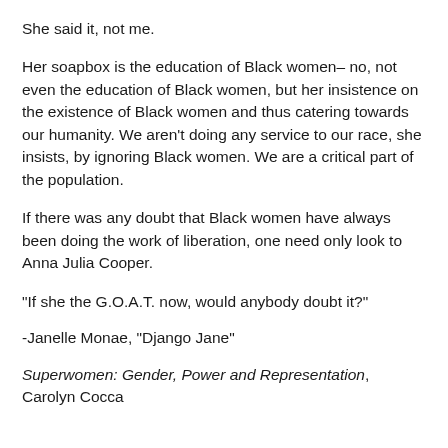She said it, not me.
Her soapbox is the education of Black women– no, not even the education of Black women, but her insistence on the existence of Black women and thus catering towards our humanity. We aren't doing any service to our race, she insists, by ignoring Black women. We are a critical part of the population.
If there was any doubt that Black women have always been doing the work of liberation, one need only look to Anna Julia Cooper.
“If she the G.O.A.T. now, would anybody doubt it?”
-Janelle Monae, “Django Jane”
Superwomen: Gender, Power and Representation, Carolyn Cocca